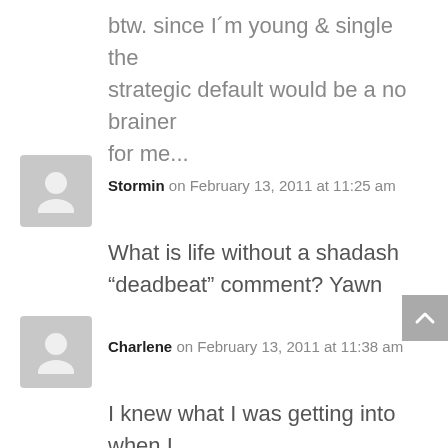btw. since I´m young & single the strategic default would be a no brainer for me...
Stormin on February 13, 2011 at 11:25 am
What is life without a shadash "deadbeat" comment? Yawn
Charlene on February 13, 2011 at 11:38 am
I knew what I was getting into when I signed my contract, so I wouldn't walk away if the value of my house took a